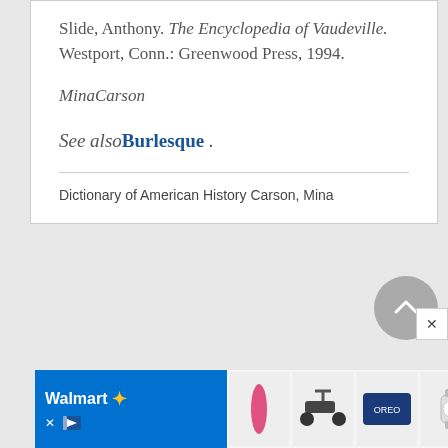Slide, Anthony. The Encyclopedia of Vaudeville. Westport, Conn.: Greenwood Press, 1994.
MinaCarson
See also Burlesque .
Dictionary of American History Carson, Mina